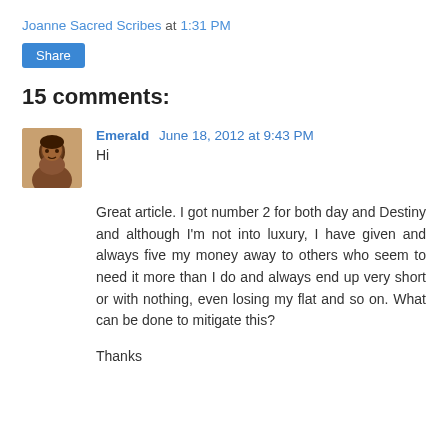Joanne Sacred Scribes at 1:31 PM
Share
15 comments:
Emerald  June 18, 2012 at 9:43 PM
Hi
Great article. I got number 2 for both day and Destiny and although I'm not into luxury, I have given and always five my money away to others who seem to need it more than I do and always end up very short or with nothing, even losing my flat and so on. What can be done to mitigate this?
Thanks